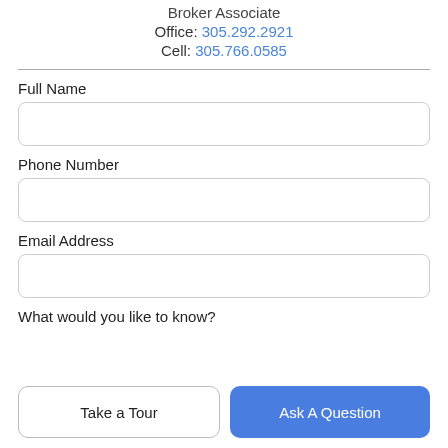Broker Associate
Office: 305.292.2921
Cell: 305.766.0585
Full Name
Phone Number
Email Address
What would you like to know?
Take a Tour
Ask A Question